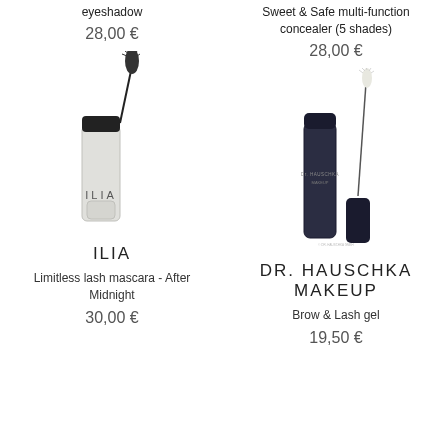eyeshadow
28,00 €
Sweet & Safe multi-function concealer (5 shades)
28,00 €
[Figure (photo): ILIA mascara tube and wand]
ILIA
Limitless lash mascara - After Midnight
30,00 €
[Figure (photo): Dr. Hauschka Makeup brow & lash gel tube and wand in dark navy packaging]
DR. HAUSCHKA MAKEUP
Brow & Lash gel
19,50 €